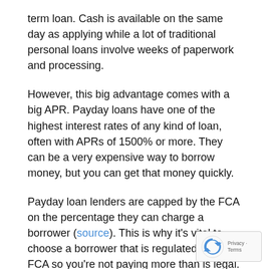term loan. Cash is available on the same day as applying while a lot of traditional personal loans involve weeks of paperwork and processing.
However, this big advantage comes with a big APR. Payday loans have one of the highest interest rates of any kind of loan, often with APRs of 1500% or more. They can be a very expensive way to borrow money, but you can get that money quickly.
Payday loan lenders are capped by the FCA on the percentage they can charge a borrower (source). This is why it's vital to choose a borrower that is regulated by the FCA so you're not paying more than is legal.
Because payday loans are used over a short period of however, looking at the APR isn't usually the best way to